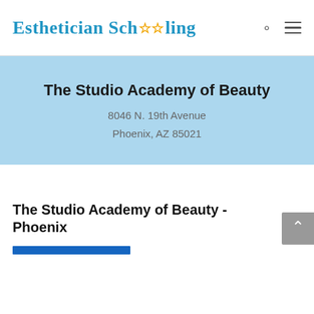Esthetician Schooling
The Studio Academy of Beauty
8046 N. 19th Avenue
Phoenix, AZ 85021
The Studio Academy of Beauty - Phoenix